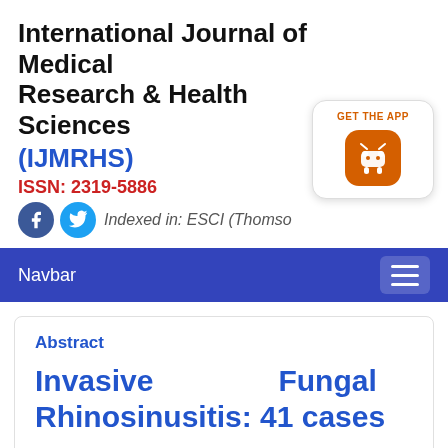International Journal of Medical Research & Health Sciences (IJMRHS)
ISSN: 2319-5886
Indexed in: ESCI (Thomso...
[Figure (screenshot): GET THE APP badge with Android robot icon in orange rounded square]
Navbar
Abstract
Invasive Fungal Rhinosinusitis: 41 cases
Author(s):Matin Ghazizade, Mahboobe Asadi, Alimohammad Fakhr Yasseri and Reza Karimi